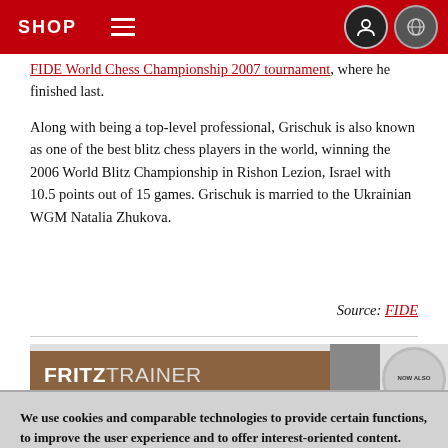SHOP
FIDE World Chess Championship 2007 tournament, where he finished last.
Along with being a top-level professional, Grischuk is also known as one of the best blitz chess players in the world, winning the 2006 World Blitz Championship in Rishon Lezion, Israel with 10.5 points out of 15 games. Grischuk is married to the Ukrainian WGM Natalia Zhukova.
Source: FIDE
[Figure (other): FritzTrainer product banner with chess player image and 'NOW ALSO' badge]
We use cookies and comparable technologies to provide certain functions, to improve the user experience and to offer interest-oriented content. Depending on their intended use, analysis cookies and marketing cookies may be used in addition to technically required cookies. Here you can make detailed settings or revoke your consent (if necessary partially) with effect for the future. Further information can be found in our data protection declaration.